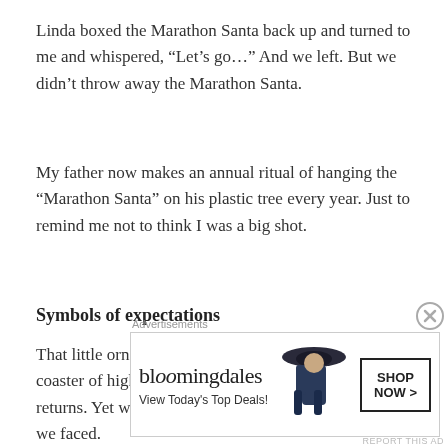Linda boxed the Marathon Santa back up and turned to me and whispered, “Let’s go…” And we left. But we didn’t throw away the Marathon Santa.
My father now makes an annual ritual of hanging the “Marathon Santa” on his plastic tree every year. Just to remind me not to think I was a big shot.
Symbols of expectations
That little ornament turned out to symbol life’s roller coaster of high expectations and sometimes modest returns. Yet we also made the best of every situation we faced.
[Figure (other): Bloomingdale's advertisement banner with woman in wide-brimmed hat and Shop Now button]